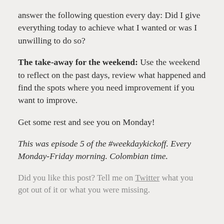answer the following question every day: Did I give everything today to achieve what I wanted or was I unwilling to do so?
The take-away for the weekend: Use the weekend to reflect on the past days, review what happened and find the spots where you need improvement if you want to improve.
Get some rest and see you on Monday!
This was episode 5 of the #weekdaykickoff. Every Monday-Friday morning. Colombian time.
Did you like this post? Tell me on Twitter what you got out of it or what you were missing.